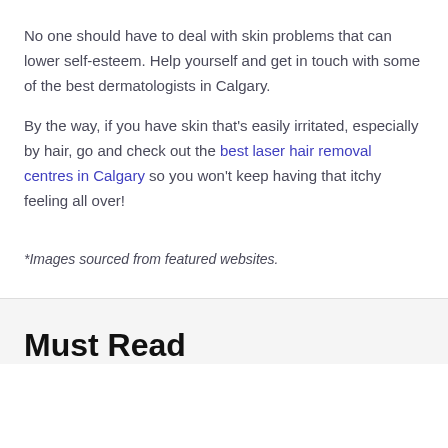No one should have to deal with skin problems that can lower self-esteem. Help yourself and get in touch with some of the best dermatologists in Calgary.
By the way, if you have skin that's easily irritated, especially by hair, go and check out the best laser hair removal centres in Calgary so you won't keep having that itchy feeling all over!
*Images sourced from featured websites.
Must Read